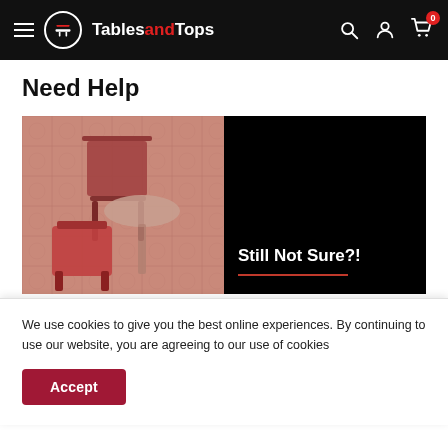TablesandTops — navigation bar with hamburger menu, logo, search, account, and cart (0) icons
Need Help
[Figure (photo): Split banner: left half shows red chairs and a table on decorative tiled floor; right half is black background with text 'Still Not Sure?!' and a red underline]
We use cookies to give you the best online experiences. By continuing to use our website, you are agreeing to our use of cookies
Accept